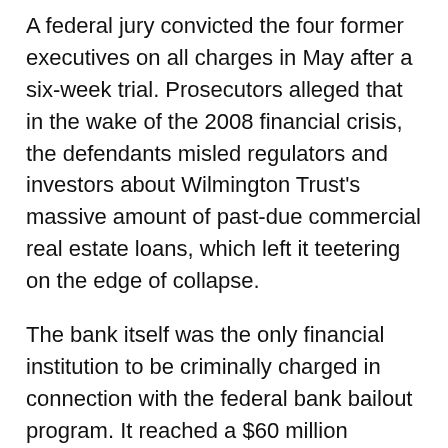A federal jury convicted the four former executives on all charges in May after a six-week trial. Prosecutors alleged that in the wake of the 2008 financial crisis, the defendants misled regulators and investors about Wilmington Trust's massive amount of past-due commercial real estate loans, which left it teetering on the edge of collapse.
The bank itself was the only financial institution to be criminally charged in connection with the federal bank bailout program. It reached a $60 million settlement with prosecutors in 2017 on the eve of a scheduled trial. The agreement included a civil forfeiture of $44 million and $16 million previously paid by Wilmington Trust to the Securities and Exchange Commission in a related lawsuit.
Meanwhile, court filings indicate that Harra and Gibson face nine to 11 years in prison under federal sentencing guidelines, while North and Rakowski face seven to nine years. It was unclear whether they would receive any prison time, however. Defense attorneys are seeking probation for their clients. They also are asking that they be allowed to